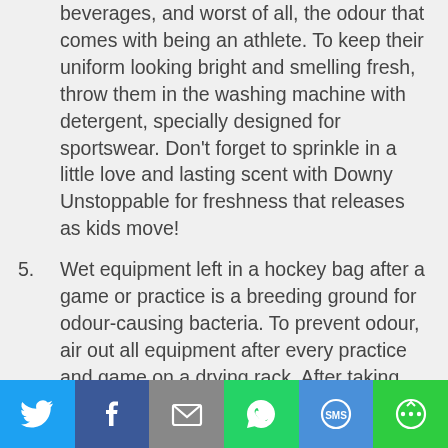beverages, and worst of all, the odour that comes with being an athlete. To keep their uniform looking bright and smelling fresh, throw them in the washing machine with detergent, specially designed for sportswear. Don't forget to sprinkle in a little love and lasting scent with Downy Unstoppable for freshness that releases as kids move!
5. Wet equipment left in a hockey bag after a game or practice is a breeding ground for odour-causing bacteria. To prevent odour, air out all equipment after every practice and game on a drying rack. After taking the equipment out of the bag, try spraying all equipment (even soles inside the skates) with Febreze Fabric Refresher Extra
[Figure (infographic): Social sharing bar with Twitter, Facebook, Email, WhatsApp, SMS, and More buttons]